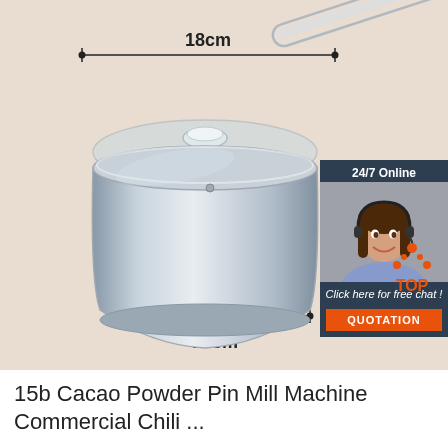[Figure (photo): Stainless steel saucepan with glass lid and long handle, shown with dimension annotations: 18cm width at top and 14cm width at base. A customer service chat widget overlay is visible in the top-right corner showing a woman with a headset, '24/7 Online', 'Click here for free chat!', and 'QUOTATION' button. A 'TOP' logo is in the bottom-right of the image area.]
15b Cacao Powder Pin Mill Machine Commercial Chili ...